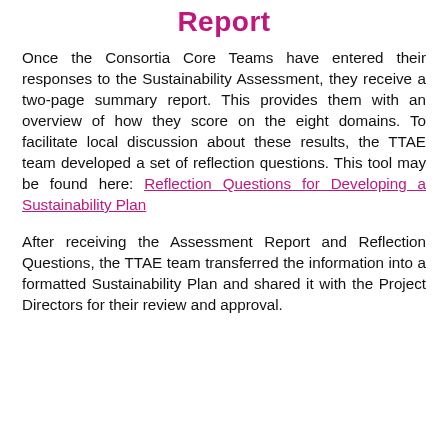Report
Once the Consortia Core Teams have entered their responses to the Sustainability Assessment, they receive a two-page summary report. This provides them with an overview of how they score on the eight domains. To facilitate local discussion about these results, the TTAE team developed a set of reflection questions. This tool may be found here: Reflection Questions for Developing a Sustainability Plan
After receiving the Assessment Report and Reflection Questions, the TTAE team transferred the information into a formatted Sustainability Plan and shared it with the Project Directors for their review and approval.